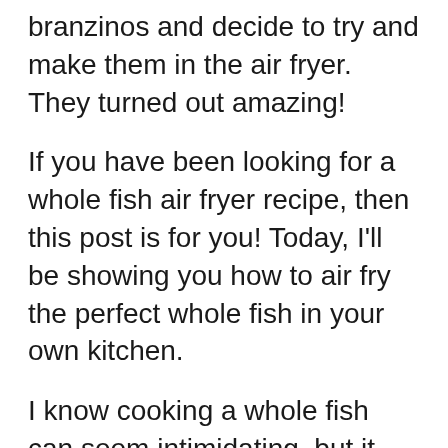branzinos and decide to try and make them in the air fryer. They turned out amazing!
If you have been looking for a whole fish air fryer recipe, then this post is for you! Today, I'll be showing you how to air fry the perfect whole fish in your own kitchen.
I know cooking a whole fish can seem intimidating, but it actually only takes about 30 minutes and does not require any oil or butter!